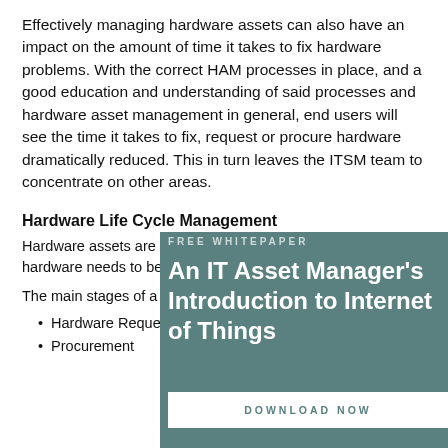Effectively managing hardware assets can also have an impact on the amount of time it takes to fix hardware problems. With the correct HAM processes in place, and a good education and understanding of said processes and hardware asset management in general, end users will see the time it takes to fix, request or procure hardware dramatically reduced. This in turn leaves the ITSM team to concentrate on other areas.
Hardware Life Cycle Management
Hardware assets are no different to other IT assets, but hardware needs to be managed in a slightly different way.
The main stages of a hardware assets lifecycle are:
Hardware Request
Procurement
[Figure (other): Promotional overlay banner for a free whitepaper titled 'An IT Asset Manager's Introduction to Internet of Things' with a 'DOWNLOAD NOW' button, on a teal/dark green background.]